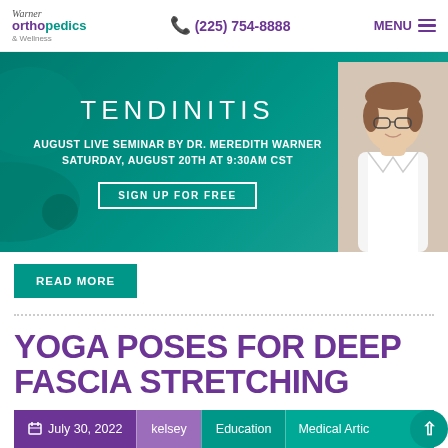Warner Orthopedics & Wellness | (225) 754-8888 | MENU
[Figure (infographic): Teal banner advertising Tendinitis August Live Seminar by Dr. Meredith Warner, Saturday August 20th at 9:30AM CST, with Sign Up For Free button and photo of Dr. Warner in white coat]
READ MORE
YOGA POSES FOR DEEP FASCIA STRETCHING
July 30, 2022 · kelsey · Education · Medical Articles